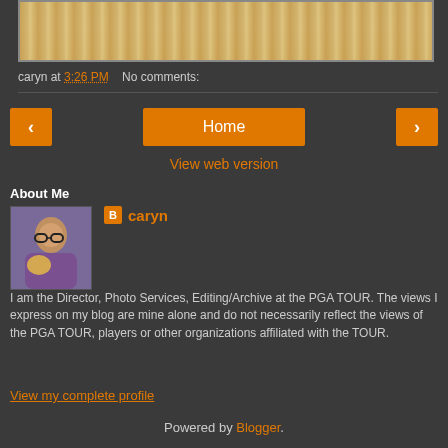[Figure (photo): Partial photo showing a wooden floor surface]
caryn at 3:26 PM   No comments:
[Figure (other): Navigation buttons: left arrow, Home, right arrow]
View web version
About Me
[Figure (photo): Profile photo of caryn holding a dog]
caryn
I am the Director, Photo Services, Editing/Archive at the PGA TOUR. The views I express on my blog are mine alone and do not necessarily reflect the views of the PGA TOUR, players or other organizations affiliated with the TOUR.
View my complete profile
Powered by Blogger.